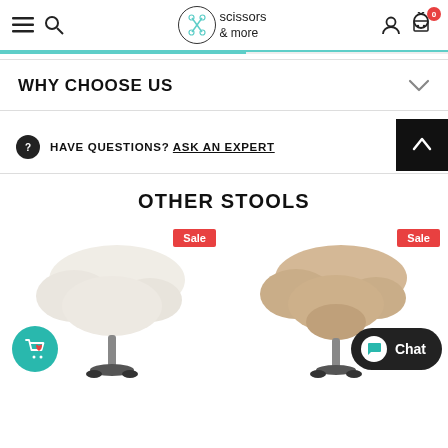scissors & more
WHY CHOOSE US
HAVE QUESTIONS? ASK AN EXPERT
OTHER STOOLS
[Figure (photo): Two ergonomic saddle stools shown side-by-side. Left stool is cream/white colored, right stool is beige/tan colored. Both have chrome adjustable bases. Left product has a Sale badge and a teal wishlist/add-to-cart button. Right product has a Sale badge. A dark Chat widget appears in the bottom right corner.]